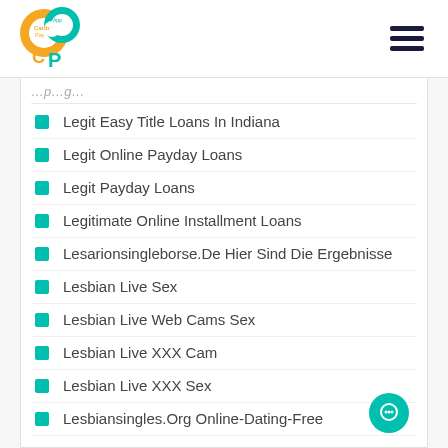Carib Pay App [logo] [hamburger menu]
Legit Easy Title Loans In Indiana
Legit Online Payday Loans
Legit Payday Loans
Legitimate Online Installment Loans
Lesarionsingleborse.De Hier Sind Die Ergebnisse
Lesbian Live Sex
Lesbian Live Web Cams Sex
Lesbian Live XXX Cam
Lesbian Live XXX Sex
Lesbiansingles.Org Online-Dating-Free